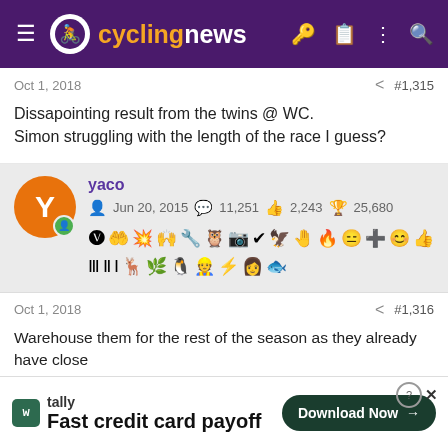cyclingnews
Oct 1, 2018   #1,315
Dissapointing result from the twins @ WC.
Simon struggling with the length of the race I guess?
yaco  Jun 20, 2015  11,251  2,243  25,680
Oct 1, 2018   #1,316
Warehouse them for the rest of the season as they already have close
tally  Fast credit card payoff  Download Now